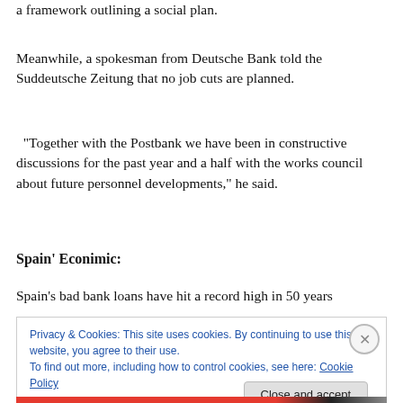a framework outlining a social plan.
Meanwhile, a spokesman from Deutsche Bank told the Suddeutsche Zeitung that no job cuts are planned.
“Together with the Postbank we have been in constructive discussions for the past year and a half with the works council about future personnel developments,” he said.
Spain’ Econimic:
Spain’s bad bank loans have hit a record high in 50 years
Privacy & Cookies: This site uses cookies. By continuing to use this website, you agree to their use.
To find out more, including how to control cookies, see here: Cookie Policy
Close and accept